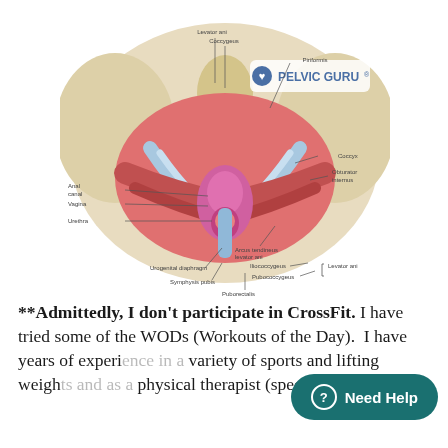[Figure (illustration): Anatomical diagram of the female pelvic floor muscles viewed from above/front, showing labeled structures including Levator ani, Coccygeus, Piriformis, Coccyx, Obturator internus, Arcus tendineus levator ani, Iliococcygeus, Pubococcygeus, Levator ani, Puborectalis, Symphysis pubis, Urogenital diaphragm, Urethra, Vagina, Anal canal, with a Pelvic Guru logo/watermark in the upper right.]
**Admittedly, I don't participate in CrossFit. I have tried some of the WODs (Workouts of the Day). I have years of experience in a variety of sports and lifting weights and as a physical therapist (specializing in pelvic